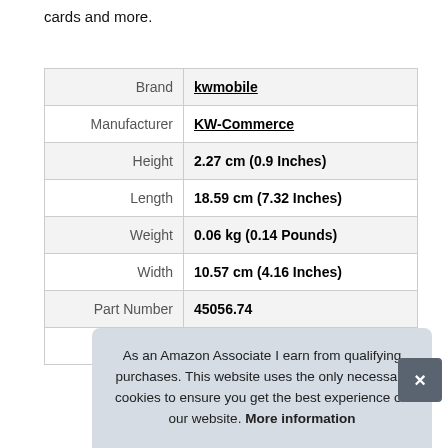cards and more.
| Attribute | Value |
| --- | --- |
| Brand | kwmobile |
| Manufacturer | KW-Commerce |
| Height | 2.27 cm (0.9 Inches) |
| Length | 18.59 cm (7.32 Inches) |
| Weight | 0.06 kg (0.14 Pounds) |
| Width | 10.57 cm (4.16 Inches) |
| Part Number | 45056.74 |
| Model | 45056.74 · 000100 |
As an Amazon Associate I earn from qualifying purchases. This website uses the only necessary cookies to ensure you get the best experience on our website. More information